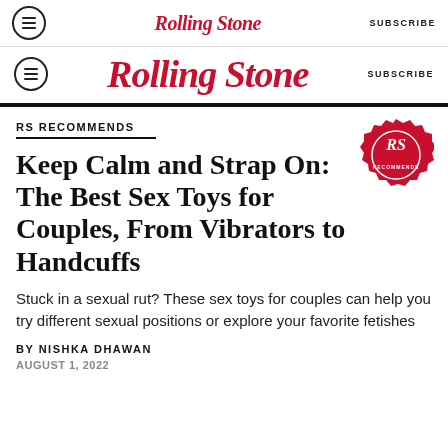Rolling Stone | SUBSCRIBE
Rolling Stone | SUBSCRIBE
RS RECOMMENDS
Keep Calm and Strap On: The Best Sex Toys for Couples, From Vibrators to Handcuffs
Stuck in a sexual rut? These sex toys for couples can help you try different sexual positions or explore your favorite fetishes
BY NISHKA DHAWAN
AUGUST 1, 2022
[Figure (logo): RS Recommends red wax seal badge with Rolling Stone RS initials]